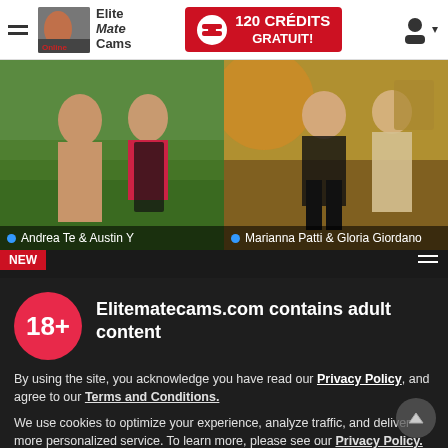EliteMate Cams Online — 120 CRÉDITS GRATUIT!
[Figure (photo): Adult webcam site header with logo, hamburger menu, credits banner (120 CRÉDITS GRATUIT!), and user icon]
[Figure (photo): Photo of couple (Andrea Te & Austin Y) on left, and photo of Marianna Patti & Gloria Giordano on right, with blue dot online indicators]
Andrea Te & Austin Y
Marianna Patti & Gloria Giordano
NEW
[Figure (photo): Dark background partial cam view with NEW badge and menu icon]
Elitematecams.com contains adult content
By using the site, you acknowledge you have read our Privacy Policy, and agree to our Terms and Conditions.
We use cookies to optimize your experience, analyze traffic, and deliver more personalized service. To learn more, please see our Privacy Policy.
I AGREE